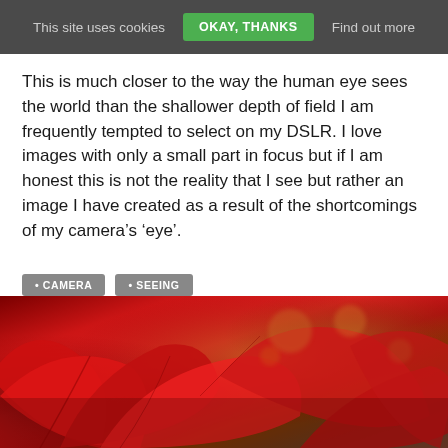This site uses cookies   OKAY, THANKS   Find out more
This is much closer to the way the human eye sees the world than the shallower depth of field I am frequently tempted to select on my DSLR. I love images with only a small part in focus but if I am honest this is not the reality that I see but rather an image I have created as a result of the shortcomings of my camera’s ‘eye’.
CAMERA
SEEING
[Figure (photo): Close-up macro photograph of red flower petals with shallow depth of field, bokeh background in warm brown and orange tones]